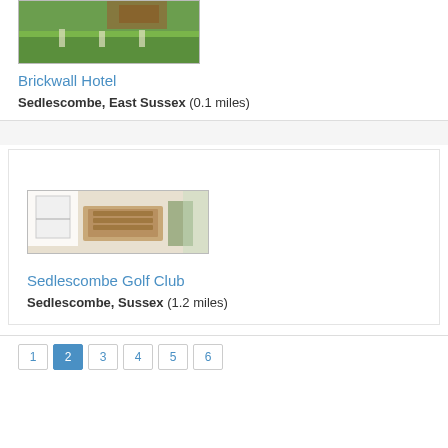[Figure (photo): Exterior photo of Brickwall Hotel showing lawn and garden area]
Brickwall Hotel
Sedlescombe, East Sussex (0.1 miles)
[Figure (photo): Interior conference/meeting room photo at Sedlescombe Golf Club with tables, chairs, whiteboard and projector screen]
Sedlescombe Golf Club
Sedlescombe, Sussex (1.2 miles)
1 2 3 4 5 6